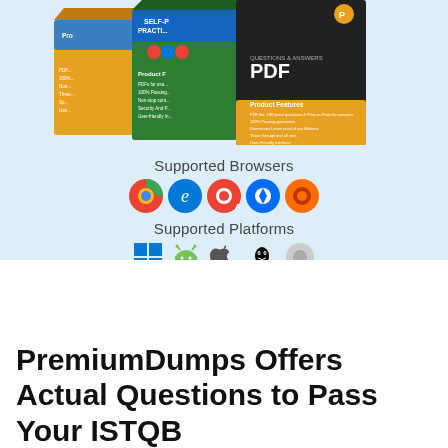[Figure (illustration): Three product boxes: PDF Q&A, Practice Exam, and Self-Paced study guides from PremiumDumps, shown as 3D box illustrations with orange, green, and dark grey colors.]
Supported Browsers
[Figure (illustration): Five browser icons in a row: Chrome, Edge, Opera, Safari, Firefox]
Supported Platforms
[Figure (illustration): Five platform icons in a row: Windows, Android, Apple, Linux, and one more platform]
PremiumDumps Offers Actual Questions to Pass Your ISTQB